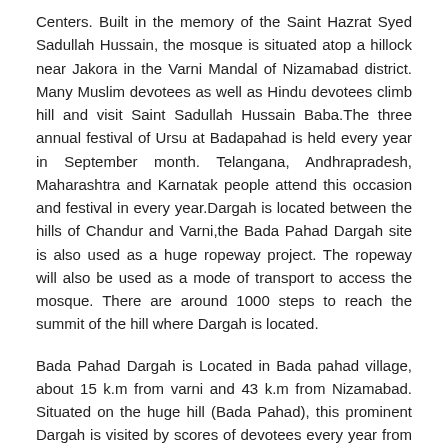Centers. Built in the memory of the Saint Hazrat Syed Sadullah Hussain, the mosque is situated atop a hillock near Jakora in the Varni Mandal of Nizamabad district. Many Muslim devotees as well as Hindu devotees climb hill and visit Saint Sadullah Hussain Baba.The three annual festival of Ursu at Badapahad is held every year in September month. Telangana, Andhrapradesh, Maharashtra and Karnatak people attend this occasion and festival in every year.Dargah is located between the hills of Chandur and Varni,the Bada Pahad Dargah site is also used as a huge ropeway project. The ropeway will also be used as a mode of transport to access the mosque. There are around 1000 steps to reach the summit of the hill where Dargah is located.
Bada Pahad Dargah is Located in Bada pahad village, about 15 k.m from varni and 43 k.m from Nizamabad. Situated on the huge hill (Bada Pahad), this prominent Dargah is visited by scores of devotees every year from the neighboring districts and states.